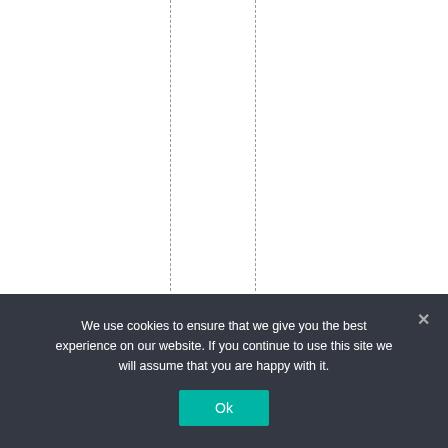[Figure (other): White page area with two vertical dashed lines and vertical text reading 'gtoconthinuewithhi' running downward along the right side]
We use cookies to ensure that we give you the best experience on our website. If you continue to use this site we will assume that you are happy with it.